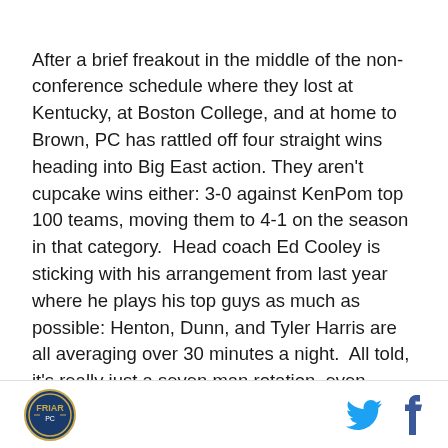After a brief freakout in the middle of the non-conference schedule where they lost at Kentucky, at Boston College, and at home to Brown, PC has rattled off four straight wins heading into Big East action. They aren't cupcake wins either: 3-0 against KenPom top 100 teams, moving them to 4-1 on the season in that category.  Head coach Ed Cooley is sticking with his arrangement from last year where he plays his top guys as much as possible: Henton, Dunn, and Tyler Harris are all averaging over 30 minutes a night.  All told, it's really just a seven man rotation, even though PC has guys on the bench that could contribute, unlike Marquette who only has eight guys and plays only
Logo and social icons